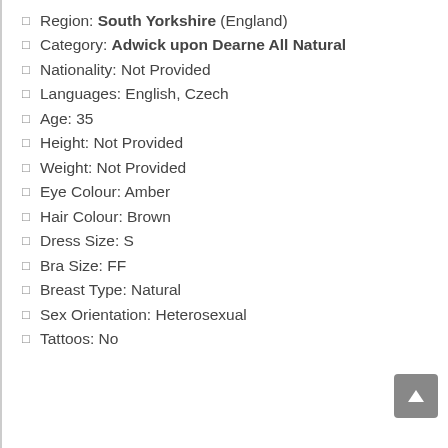Region: South Yorkshire (England)
Category: Adwick upon Dearne All Natural
Nationality: Not Provided
Languages: English, Czech
Age: 35
Height: Not Provided
Weight: Not Provided
Eye Colour: Amber
Hair Colour: Brown
Dress Size: S
Bra Size: FF
Breast Type: Natural
Sex Orientation: Heterosexual
Tattoos: No